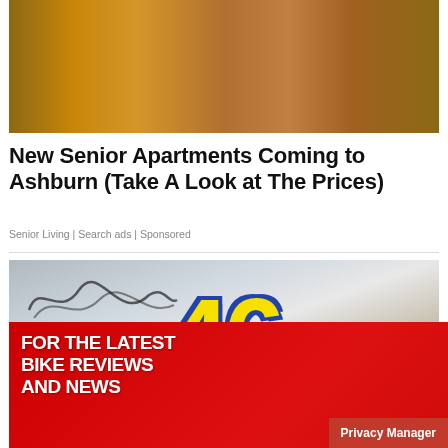[Figure (photo): Exterior of a brown/wooden modern small house with porch and garden landscaping]
New Senior Apartments Coming to Ashburn (Take A Look at The Prices)
Senior Living | Search ads | Sponsored
[Figure (photo): Close-up of a vehicle panel with a large yellow and blue number 46 and autograph signatures]
[Figure (infographic): Advertisement banner: FOR THE LATEST BIKE REVIEWS AND NEWS — Visor Down YouTube channel ad]